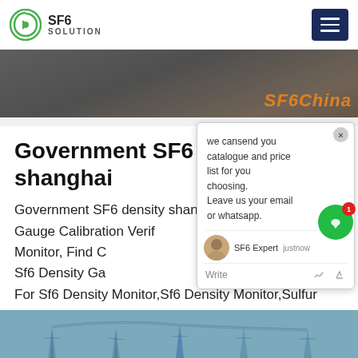SF6 SOLUTION
[Figure (photo): Hero image strip showing SF6 equipment, with 'SF6China' text overlay in orange]
Government SF6 density shanghai
Government SF6 density shanghai, Sf6 Density Gauge Calibration Verification Tester For Sf6 Density Monitor, Find Complete Details about High Precision Sf6 Density Gauge Calibration Verification Tester For Sf6 Density Monitor,Sf6 Density Monitor,Sulfur Hexafluoride Density Tester,Sf6 Density Gauge Calibration Verification Tester from Testing Equipment Supplier or Manufacturer-Rui Du
[Figure (screenshot): Chat popup overlay: 'we can send you catalogue and price list for you choosing. Leave us your email or whatsapp.' with SF6 Expert agent, just now timestamp, Write input area]
[Figure (photo): Bottom strip showing electrical transmission towers against sky]